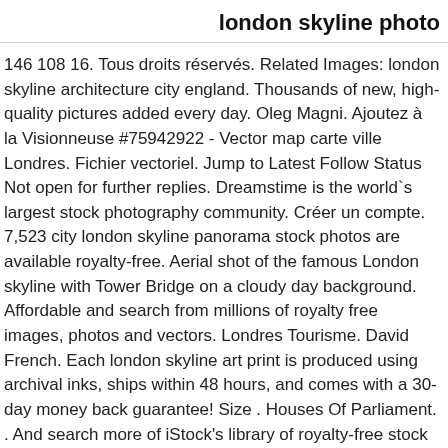london skyline photo
146 108 16. Tous droits réservés. Related Images: london skyline architecture city england. Thousands of new, high-quality pictures added every day. Oleg Magni. Ajoutez à la Visionneuse #75942922 - Vector map carte ville Londres. Fichier vectoriel. Jump to Latest Follow Status Not open for further replies. Dreamstime is the world`s largest stock photography community. Créer un compte. 7,523 city london skyline panorama stock photos are available royalty-free. Aerial shot of the famous London skyline with Tower Bridge on a cloudy day background. Affordable and search from millions of royalty free images, photos and vectors. Londres Tourisme. David French. Each london skyline art print is produced using archival inks, ships within 48 hours, and comes with a 30-day money back guarantee! Size . Houses Of Parliament. . And search more of iStock's library of royalty-free stock images that features Aerial View photos available for quick and easy